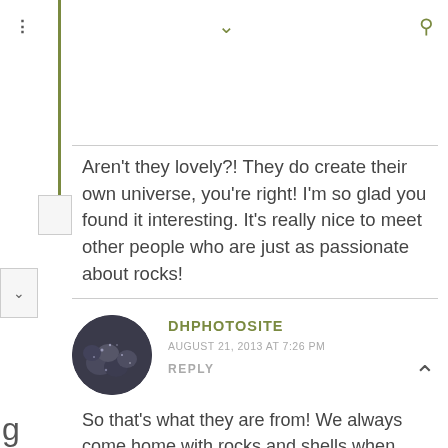Aren't they lovely?! They do create their own universe, you're right! I'm so glad you found it interesting. It's really nice to meet other people who are just as passionate about rocks!
[Figure (photo): Circular avatar photo showing dark rocks/stones with glittery mineral surfaces]
DHPHOTOSITE
AUGUST 21, 2013 AT 7:26 PM
REPLY
So that's what they are from! We always come home with rocks and shells when